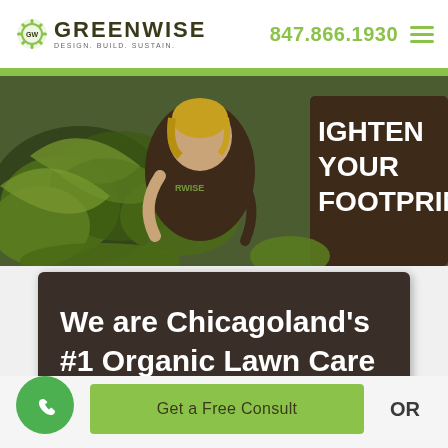[Figure (logo): Greenwise logo with circular leaf/gear icon and tagline DESIGN. BUILD. SUSTAIN.]
847.866.1930
[Figure (photo): Two people in brown Greenwise shirts working in a garden. One person is tending to plants. The other person's shirt reads LIGHTEN YOUR FOOTPRINT.]
We are Chicagoland's #1 Organic Lawn Care Company!
Get a Free Consult
OR